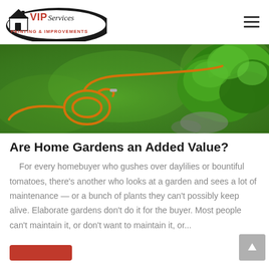VIP Services Painting & Improvements
[Figure (photo): Aerial view of a green lawn with an orange hose coiled and snaking across the grass, with a green leafy shrub in the upper right corner.]
Are Home Gardens an Added Value?
For every homebuyer who gushes over daylilies or bountiful tomatoes, there's another who looks at a garden and sees a lot of maintenance — or a bunch of plants they can't possibly keep alive. Elaborate gardens don't do it for the buyer. Most people can't maintain it, or don't want to maintain it, or...